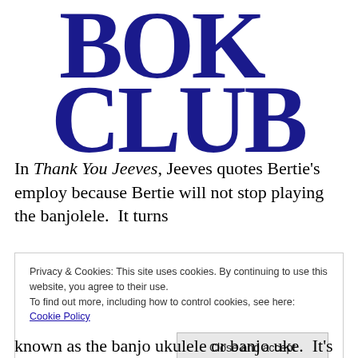[Figure (logo): Book Club logo in large dark blue serif letters stacked: BOK on top, CLUB below]
In Thank You Jeeves, Jeeves quotes Bertie's employ because Bertie will not stop playing the banjolele.  It turns
Privacy & Cookies: This site uses cookies. By continuing to use this website, you agree to their use.
To find out more, including how to control cookies, see here: Cookie Policy
[Close and accept]
known as the banjo ukulele or banjo uke.  It's basically a